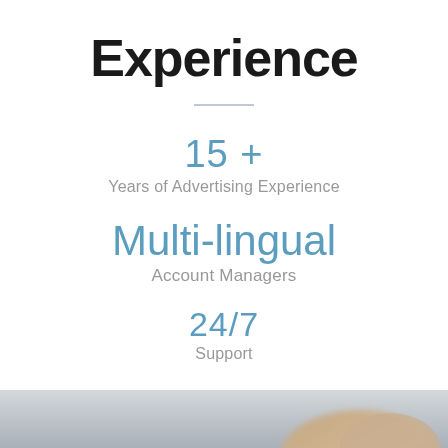Experience
15 +
Years of Advertising Experience
Multi-lingual
Account Managers
24/7
Support
[Figure (photo): Blurred background photo of a person's hands, likely at a desk or office setting, visible at the bottom of the page.]